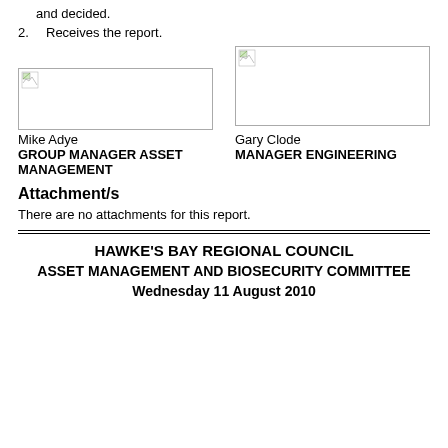and decided.
2.   Receives the report.
[Figure (illustration): Signature block image for Mike Adye, Group Manager Asset Management — broken image icon with border]
Mike Adye
GROUP MANAGER ASSET MANAGEMENT
[Figure (illustration): Signature block image for Gary Clode, Manager Engineering — broken image icon with border]
Gary Clode
MANAGER ENGINEERING
Attachment/s
There are no attachments for this report.
HAWKE'S BAY REGIONAL COUNCIL
ASSET MANAGEMENT AND BIOSECURITY COMMITTEE
Wednesday 11 August 2010